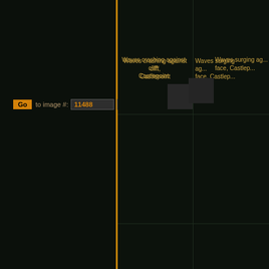[Figure (screenshot): Web application interface with dark background. Left panel with orange vertical border line. Navigation row showing orange 'Go' button, 'to image #:' label, and input field showing '11488'. Right panel shows a grid of image thumbnails with captions in orange/golden text.]
Go
to image #:  11488
Waves crashing against cliff, Castlepoint
Waves surging against rock face, Castlep...
Swirling sea against cliffs
Walking on rock south coas...
Wellington City panorama at dusk
Wellington City a...